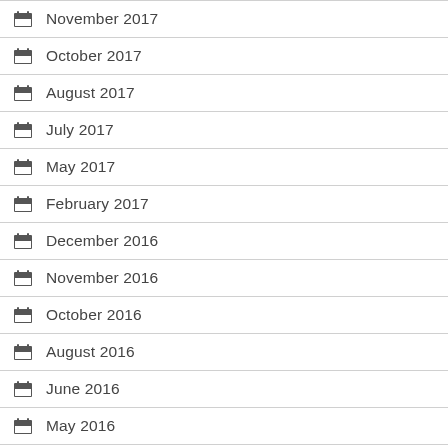November 2017
October 2017
August 2017
July 2017
May 2017
February 2017
December 2016
November 2016
October 2016
August 2016
June 2016
May 2016
February 2016